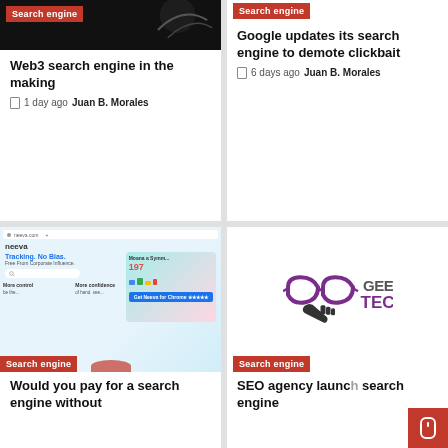[Figure (screenshot): Dark header image with Search engine badge overlay for Web3 article]
Web3 search engine in the making
1 day ago  Juan B. Morales
[Figure (screenshot): Search engine badge for Google updates article]
Google updates its search engine to demote clickbait
6 days ago  Juan B. Morales
[Figure (screenshot): Neeva search engine screenshot: Tracking. No Bias. Free From Corporate Influence. Search engine badge overlay.]
Would you pay for a search engine without
[Figure (logo): Geeky Tech logo with purple glasses icon and GEEKY TECH text. Search engine badge overlay.]
SEO agency launc search engine